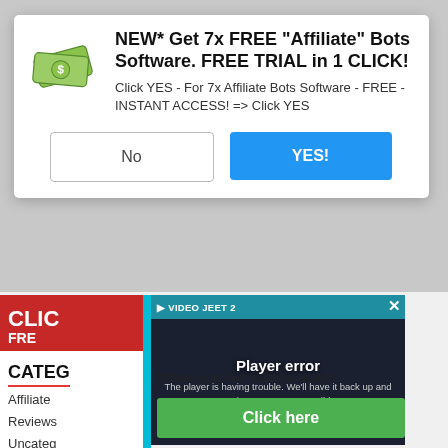[Figure (screenshot): Screenshot of a website showing a video player error overlay and a sidebar with categories. The video player shows 'Player error - The player is having trouble. We'll have it back up and running as soon as possible.' The sidebar has a red box with 'CLIC' and 'FRE', a cyan vertical bar, a 'CATEG' section header, and list items: Affiliate, Reviews, Uncateg. Below the video there is text 'Would you like to know more?' and a green 'Click here' button.]
[Figure (screenshot): Modal popup dialog over the website. Contains a money/cash icon, bold title 'NEW* Get 7x FREE "Affiliate" Bots Software. FREE TRIAL in 1 CLICK!', body text 'Click YES - For 7x Affiliate Bots Software - FREE - INSTANT ACCESS! => Click YES', and two buttons: 'No' (white) and 'YES!' (blue).]